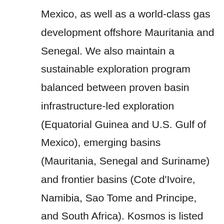Mexico, as well as a world-class gas development offshore Mauritania and Senegal. We also maintain a sustainable exploration program balanced between proven basin infrastructure-led exploration (Equatorial Guinea and U.S. Gulf of Mexico), emerging basins (Mauritania, Senegal and Suriname) and frontier basins (Cote d'Ivoire, Namibia, Sao Tome and Principe, and South Africa). Kosmos is listed on the New York Stock Exchange and London Stock Exchange and is traded under the ticker symbol KOS. As an ethical and transparent company, Kosmos is committed to doing things the right way. The Company's Business Principles articulate our commitment to transparency, ethics, human rights, safety and the environment. Read more about this commitment in the Kosmos 2018